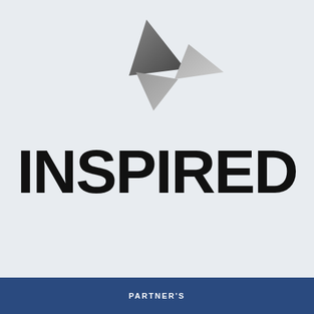[Figure (logo): INSPIRED company logo with two silver/grey geometric triangle shapes above the bold black text 'INSPIRED']
PARTNER'S